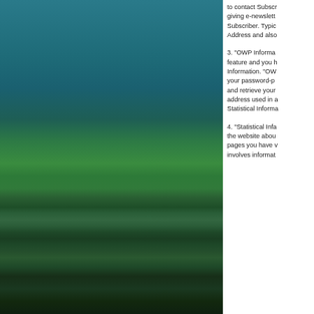[Figure (photo): Scenic photo of a forested hillside reflected in a calm lake or river. The upper half shows dark teal-blue sky and dense green tree canopy, while the lower half mirrors the trees in the water below.]
to contact Subscriber giving e-newsletter Subscriber. Typically Address and also
3. "OWP Informa feature and you h Information. "OW your password-p and retrieve your address used in a Statistical Informa
4. "Statistical Infa the website abou pages you have v involves informat